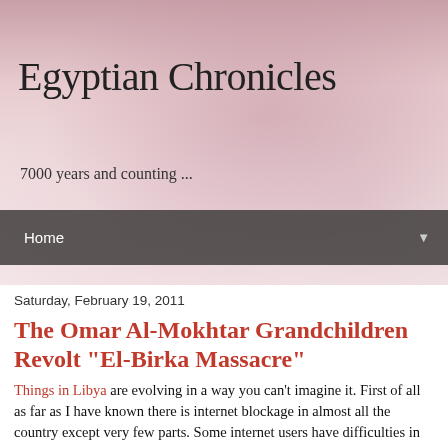Egyptian Chronicles
7000 years and counting ...
Home ▼
Saturday, February 19, 2011
The Omar Al-Mokhtar Grandchildren Revolt "El-Birka Massacre"
Things in Libya are evolving in a way you can't imagine it. First of all as far as I have known there is internet blockage in almost all the country except very few parts. Some internet users have difficulties in accessing some websites while other can't go online at all.
The protests are spreading like fire in the country , it seems the tribes have joined the protests as well and this I suppose will turn the confrontation between the people and the Qaddafi regime from another side. You must know that